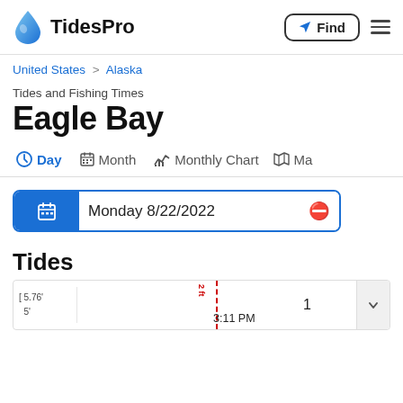TidesPro
United States > Alaska
Tides and Fishing Times
Eagle Bay
Day  Month  Monthly Chart  Ma…
Monday 8/22/2022
Tides
5.76'  5'  2 ft  3:11 PM  1